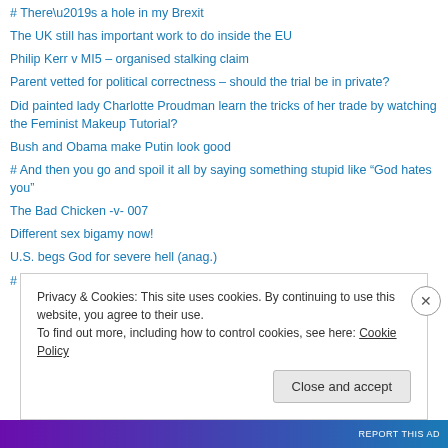# There’s a hole in my Brexit
The UK still has important work to do inside the EU
Philip Kerr v MI5 – organised stalking claim
Parent vetted for political correctness – should the trial be in private?
Did painted lady Charlotte Proudman learn the tricks of her trade by watching the Feminist Makeup Tutorial?
Bush and Obama make Putin look good
# And then you go and spoil it all by saying something stupid like “God hates you”
The Bad Chicken -v- 007
Different sex bigamy now!
U.S. begs God for severe hell (anag.)
# What a difference a Gay makes!
Privacy & Cookies: This site uses cookies. By continuing to use this website, you agree to their use.
To find out more, including how to control cookies, see here: Cookie Policy
Close and accept